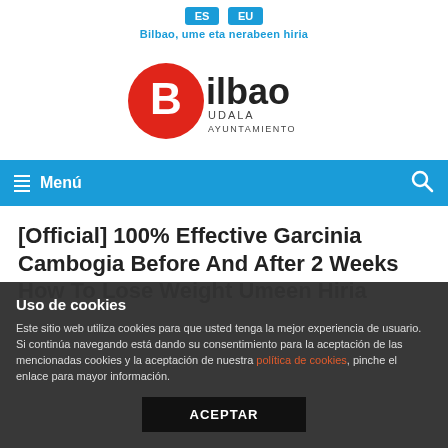ES EU — Bilbao, ume eta nerabeen hiria
[Figure (logo): Bilbao Udala Ayuntamiento logo — red oval with white B, text Bilbao in dark, UDALA AYUNTAMIENTO below]
Menú
[Official] 100% Effective Garcinia Cambogia Before And After 2 Weeks How To Lose Weight Umeen Hiria
Uso de cookies — Este sitio web utiliza cookies para que usted tenga la mejor experiencia de usuario. Si continúa navegando está dando su consentimiento para la aceptación de las mencionadas cookies y la aceptación de nuestra política de cookies, pinche el enlace para mayor información. ACEPTAR